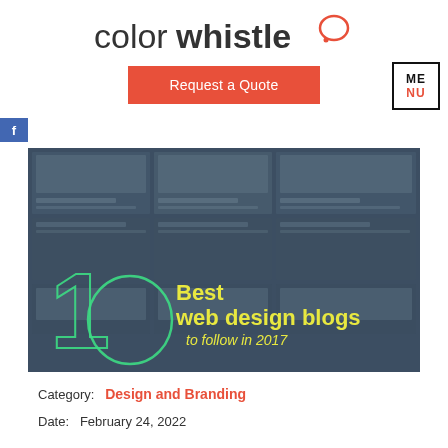[Figure (logo): ColorWhistle logo with speech bubble icon]
Request a Quote
[Figure (other): MENU box with ME in black and NU in red]
[Figure (other): Facebook icon button]
[Figure (illustration): Hero image showing '10 Best web design blogs to follow in 2017' with blog cards grid in dark blue background]
Category:  Design and Branding
Date:  February 24, 2022